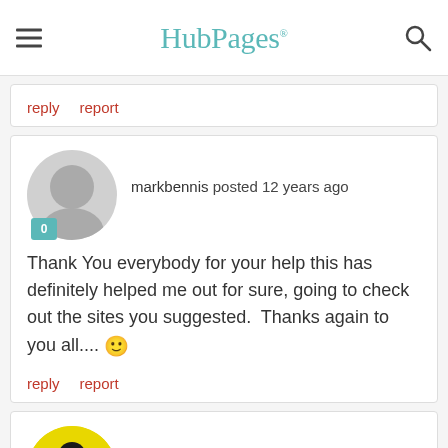HubPages
reply   report
markbennis posted 12 years ago
Thank You everybody for your help this has definitely helped me out for sure, going to check out the sites you suggested.  Thanks again to you all.... 🙂
reply   report
darkside posted 12 years ago